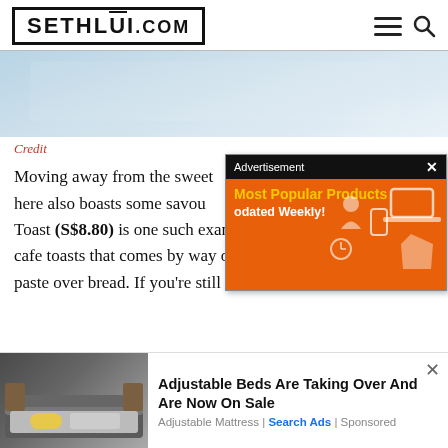SETHLUI.COM
[Figure (photo): Partial view of a food or café scene, light blue/white tones, cropped hero image]
Credit
[Figure (infographic): Advertisement overlay: 'Most Popular Products - Updated Weekly!' on orange background with product icons, black header bar with Advertisement label and X close button]
Moving away from the sweet, here also boasts some savour Toast (S$8.80) is one such example, with a local twist on cafe toasts that comes by way of their house-made spicy otah paste over bread. If you're still not convinced Flat Chin Fan...
[Figure (photo): Ad banner showing adjustable/smart bed with grey fabric, yellow pillow, white bedding]
Adjustable Beds Are Taking Over And Are Now On Sale
Adjustable Mattress | Search Ads | Sponsored